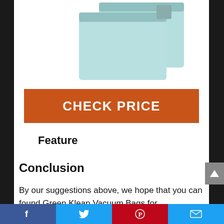[Figure (photo): Product photo of light blue/teal vacuum bags stacked]
CHECK PRICE
Feature
Conclusion
By our suggestions above, we hope that you can found Green Klean Vacuum Bags for